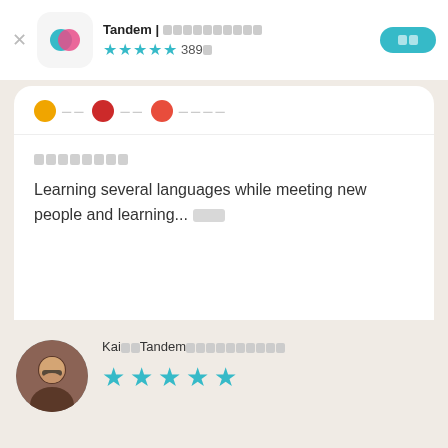[Figure (screenshot): App store header showing Tandem app icon with teal and pink overlapping circles on white rounded square background, close X button on left, app title 'Tandem | [encoded text]', 4.5 star rating with '389[encoded]', and teal 'Get' button on right]
[encoded characters] (language flags row with colored circles)
[encoded characters] (section title)
Learning several languages while meeting new people and learning...[encoded]
[encoded characters] (more button)
[Figure (photo): Circular avatar photo of Kai, a man with glasses and beard smiling]
Kai[encoded]Tandem[encoded characters]
[Figure (infographic): 5 teal star rating icons]